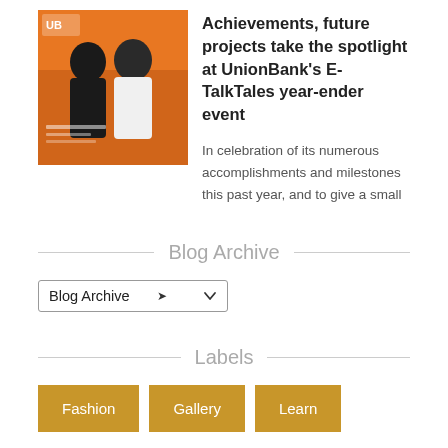[Figure (photo): Two men posing for a photo with an orange background, appears to be a magazine or event cover photo related to UnionBank]
Achievements, future projects take the spotlight at UnionBank's E-TalkTales year-ender event
In celebration of its numerous accomplishments and milestones this past year, and to give a small
Blog Archive
Blog Archive (dropdown)
Labels
Fashion
Gallery
Learn